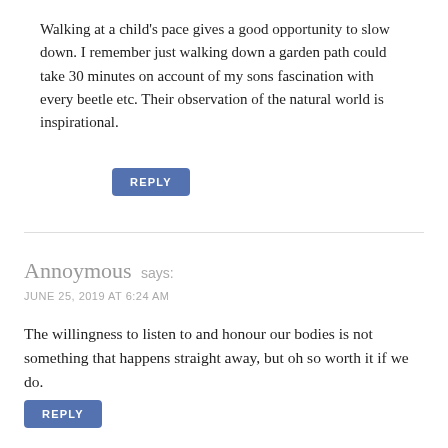Walking at a child's pace gives a good opportunity to slow down. I remember just walking down a garden path could take 30 minutes on account of my sons fascination with every beetle etc. Their observation of the natural world is inspirational.
REPLY
Annoymous says:
JUNE 25, 2019 AT 6:24 AM
The willingness to listen to and honour our bodies is not something that happens straight away, but oh so worth it if we do.
REPLY